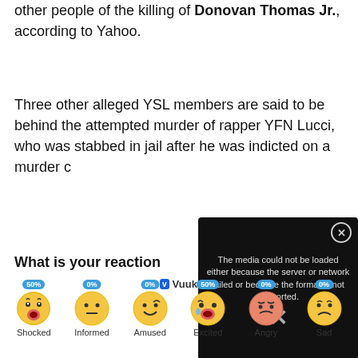other people of the killing of Donovan Thomas Jr., according to Yahoo.
Three other alleged YSL members are said to be behind the attempted murder of rapper YFN Lucci, who was stabbed in jail after he was indicted on a murder c…
[Figure (screenshot): Video player overlay with error message: 'The media could not be loaded either because the server or network failed or because the format is not supported.' with a close X button and watermark text in background.]
What is your reaction
[Figure (infographic): Vuukle reaction emoji row showing 6 emojis with percentage labels: Shocked 50%, Informed 0%, Amused 0%, Excited 50%, Angry 0%, Sad 0%]